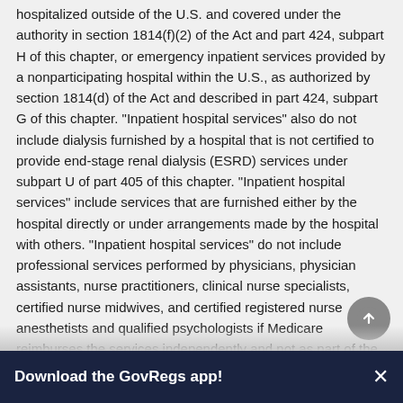hospitalized outside of the U.S. and covered under the authority in section 1814(f)(2) of the Act and part 424, subpart H of this chapter, or emergency inpatient services provided by a nonparticipating hospital within the U.S., as authorized by section 1814(d) of the Act and described in part 424, subpart G of this chapter. "Inpatient hospital services" also do not include dialysis furnished by a hospital that is not certified to provide end-stage renal dialysis (ESRD) services under subpart U of part 405 of this chapter. "Inpatient hospital services" include services that are furnished either by the hospital directly or under arrangements made by the hospital with others. "Inpatient hospital services" do not include professional services performed by physicians, physician assistants, nurse practitioners, clinical nurse specialists, certified nurse midwives, and certified registered nurse anesthetists and qualified psychologists if Medicare reimburses the services independently and not as part of the inpatient hospital service (even if they are billed by a hospital under an assignment or reassignment).
Interoperable means -
Download the GovRegs app!